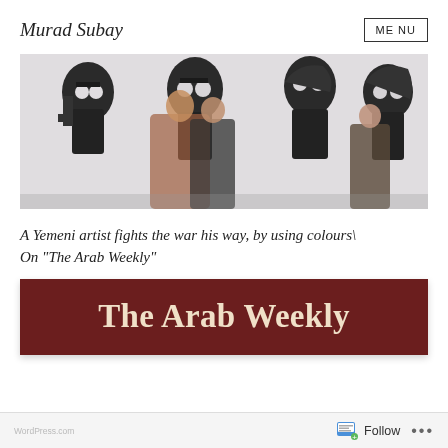Murad Subay
[Figure (photo): Black and white street mural showing figures with skull-like faces holding smartphones, with people walking in front in real life]
A Yemeni artist fights the war his way, by using colours\ On “The Arab Weekly”
[Figure (logo): The Arab Weekly logo: dark red/maroon banner with white bold text reading 'The Arab Weekly']
Follow